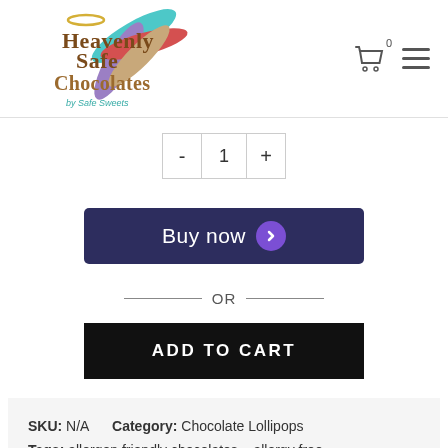[Figure (logo): Heavenly Safe Chocolates by Safe Sweets logo with colorful feather/wing design]
[Figure (other): Shopping cart icon with 0 badge and hamburger menu icon]
- 1 +
Buy now
— OR —
ADD TO CART
SKU: N/A    Category: Chocolate Lollipops
Tags: allergen friendly chocolates , allergy free , allergy friendly , baseball , basketball , chocolate ,